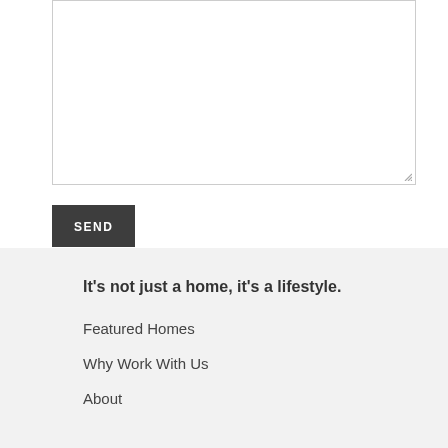[Figure (other): Textarea input box with resize handle in bottom-right corner]
SEND
It's not just a home, it's a lifestyle.
Featured Homes
Why Work With Us
About